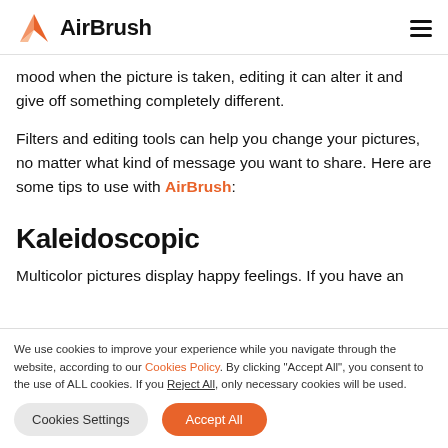AirBrush
mood when the picture is taken, editing it can alter it and give off something completely different.
Filters and editing tools can help you change your pictures, no matter what kind of message you want to share. Here are some tips to use with AirBrush:
Kaleidoscopic
Multicolor pictures display happy feelings. If you have an
We use cookies to improve your experience while you navigate through the website, according to our Cookies Policy. By clicking "Accept All", you consent to the use of ALL cookies. If you Reject All, only necessary cookies will be used.